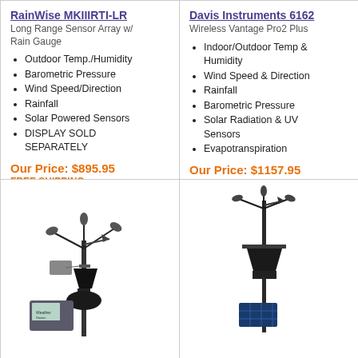RainWise MKIIIRTI-LR
Long Range Sensor Array w/ Rain Gauge
Outdoor Temp./Humidity
Barometric Pressure
Wind Speed/Direction
Rainfall
Solar Powered Sensors
DISPLAY SOLD SEPARATELY
Our Price: $895.95
FREE SHIPPING
(15)
Davis Instruments 6162
Wireless Vantage Pro2 Plus
Indoor/Outdoor Temp & Humidity
Wind Speed & Direction
Rainfall
Barometric Pressure
Solar Radiation & UV Sensors
Evapotranspiration
Our Price: $1157.95
Lower Price Available
FREE SHIPPING
(36)
[Figure (photo): RainWise weather station with anemometer, rain gauge funnel, tipping bucket, and LCD display console]
[Figure (photo): Davis Instruments wireless weather station with anemometer, rain collector, and solar panel on pole mount]